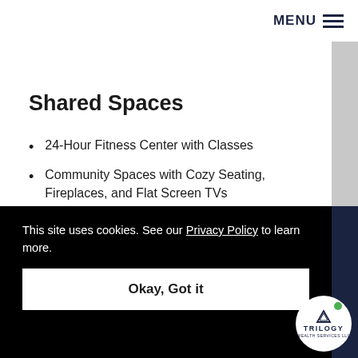MENU
Shared Spaces
24-Hour Fitness Center with Classes
Community Spaces with Cozy Seating, Fireplaces, and Flat Screen TVs
Private Movie Theatre with Luxury Seating
*For additional fee
This site uses cookies. See our Privacy Policy to learn more.
Okay, Got it